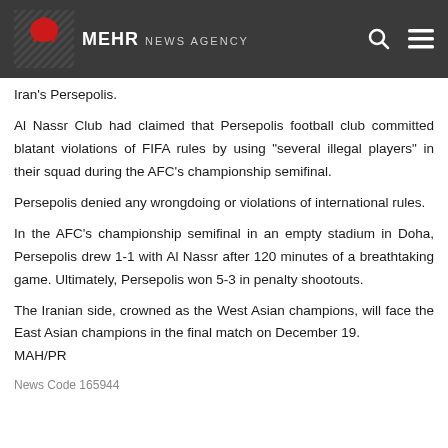MEHR NEWS AGENCY
Iran's Persepolis.
Al Nassr Club had claimed that Persepolis football club committed blatant violations of FIFA rules by using "several illegal players" in their squad during the AFC's championship semifinal.
Persepolis denied any wrongdoing or violations of international rules.
In the AFC's championship semifinal in an empty stadium in Doha, Persepolis drew 1-1 with Al Nassr after 120 minutes of a breathtaking game. Ultimately, Persepolis won 5-3 in penalty shootouts.
The Iranian side, crowned as the West Asian champions, will face the East Asian champions in the final match on December 19. MAH/PR
News Code 165944